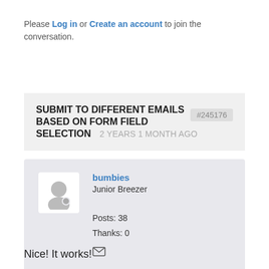Please Log in or Create an account to join the conversation.
SUBMIT TO DIFFERENT EMAILS BASED ON FORM FIELD SELECTION   2 YEARS 1 MONTH AGO   #245176
bumbies
Junior Breezer

Posts: 38
Thanks: 0
Nice! It works!